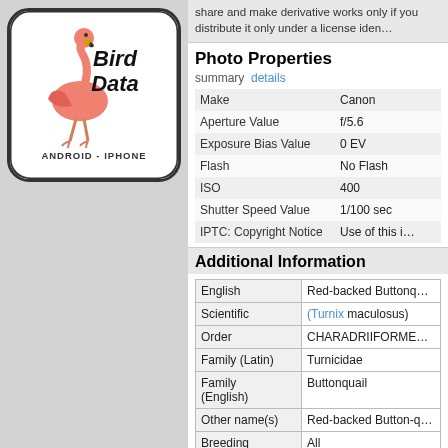[Figure (logo): Bird Data app logo with flamingo illustration, text 'Bird Data' and 'ANDROID - IPHONE', white rounded square]
share and make derivative works only if you distribute it only under a license iden...
Photo Properties
summary  details
| Make | Canon |
| Aperture Value | f/5.6 |
| Exposure Bias Value | 0 EV |
| Flash | No Flash |
| ISO | 400 |
| Shutter Speed Value | 1/100 sec |
| IPTC: Copyright Notice | Use of this i... |
Additional Information
| English | Red-backed Buttonq... |
| Scientific | (Turnix maculosus) |
| Order | CHARADRIIFORME... |
| Family (Latin) | Turnicidae |
| Family (English) | Buttonquail |
| Other name(s) | Red-backed Button-q... |
| Breeding | All |